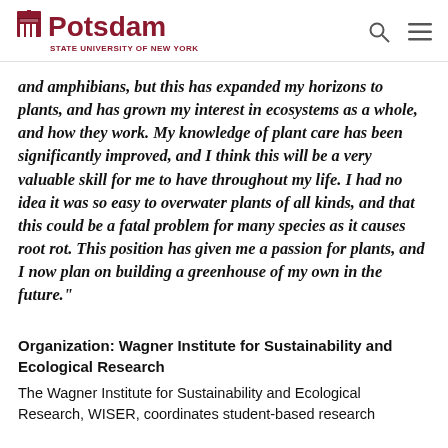Potsdam STATE UNIVERSITY OF NEW YORK
and amphibians, but this has expanded my horizons to plants, and has grown my interest in ecosystems as a whole, and how they work. My knowledge of plant care has been significantly improved, and I think this will be a very valuable skill for me to have throughout my life. I had no idea it was so easy to overwater plants of all kinds, and that this could be a fatal problem for many species as it causes root rot. This position has given me a passion for plants, and I now plan on building a greenhouse of my own in the future."
Organization: Wagner Institute for Sustainability and Ecological Research
The Wagner Institute for Sustainability and Ecological Research, WISER, coordinates student-based research